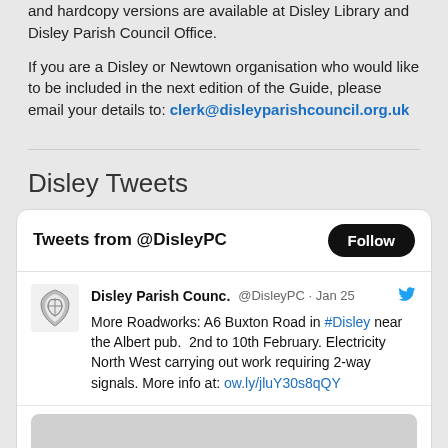and hardcopy versions are available at Disley Library and Disley Parish Council Office.
If you are a Disley or Newtown organisation who would like to be included in the next edition of the Guide, please email your details to: clerk@disleyparishcouncil.org.uk
Disley Tweets
[Figure (screenshot): Embedded Twitter/X widget showing tweets from @DisleyPC. Header shows 'Tweets from @DisleyPC' with a Follow button. Tweet from Disley Parish Counc. @DisleyPC on Jan 25 reads: More Roadworks: A6 Buxton Road in #Disley near the Albert pub. 2nd to 10th February. Electricity North West carrying out work requiring 2-way signals. More info at: ow.ly/jluY30s8qQY. A partial image strip is visible at the bottom.]